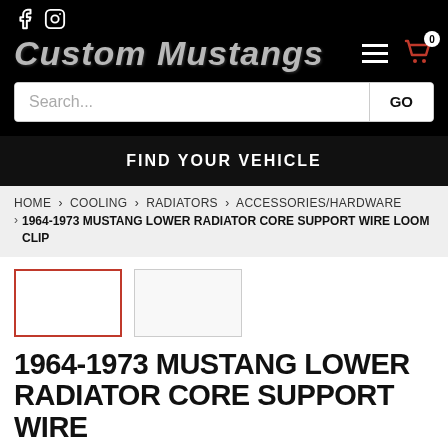Custom Mustangs
Search...
FIND YOUR VEHICLE
HOME › COOLING › RADIATORS › ACCESSORIES/HARDWARE › 1964-1973 MUSTANG LOWER RADIATOR CORE SUPPORT WIRE LOOM CLIP
[Figure (photo): Two thumbnail image placeholders for product photos]
1964-1973 MUSTANG LOWER RADIATOR CORE SUPPORT WIRE